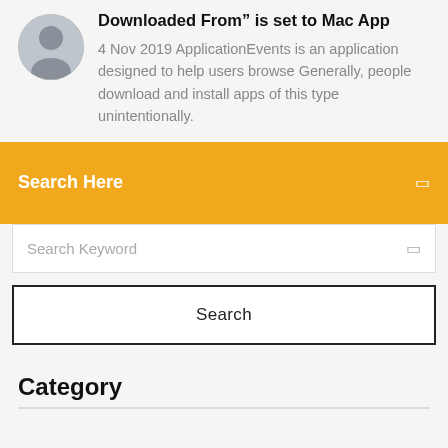Downloaded From" is set to Mac App
4 Nov 2019 ApplicationEvents is an application designed to help users browse Generally, people download and install apps of this type unintentionally.
Search Here
Search Keyword
Search
Category